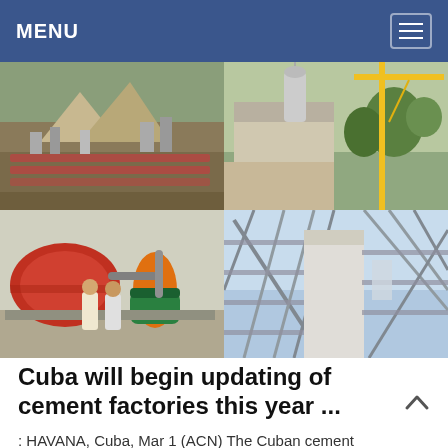MENU
[Figure (photo): Four-panel collage of industrial cement factory scenes: top-left shows outdoor construction/crushing equipment area, top-right shows factory building with crane and dust collector, bottom-left shows two men posed in front of large red and green cylindrical ball mills, bottom-right shows steel-framed industrial conveyor and processing structures.]
Cuba will begin updating of cement factories this year ...
: HAVANA, Cuba, Mar 1 (ACN) The Cuban cement